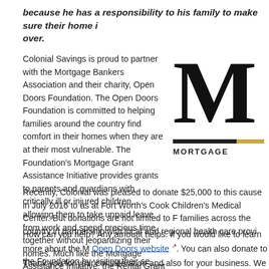because he has a responsibility to his family to make sure their home is taken care of. over.
Colonial Savings is proud to partner with the Mortgage Bankers Association and their charity, Open Doors Foundation. The Open Doors Foundation is committed to helping families around the country find comfort in their homes when they are at their most vulnerable. The Foundation's Mortgage Grant Assistance Initiative provides grants to parents and guardians with critically ill or injured children, allowing them to take unpaid leave from work and spend precious time together without jeopardizing their homes. Much like the Mortgage Assistance Initiative, the Rental Grant Assistance Initiative helps families focus on the health of their child instead of their next rent payment. The Foundation began awarding grants to qualified families in late 2012. To date in 2016, the Foundation has raised over $1... commitments to help families keep their homes.
[Figure (logo): Mortgage Bankers Association logo showing large letter M with double bar and MORTGAGE text]
Recently, Colonial was pleased to donate $25,000 to this cause in July 2016 to as... at Fort Worth's Cook Children's Medical Center. But donations are not limited to F... families across the country in partnership with local and regional health care provi...
How can you help? Any amount helps. If you would like to learn more about the M... Open Doors website. You can also donate to the Foundation by visiting their se...
Thank you for your consideration and also for your business. We appreciate it ver...